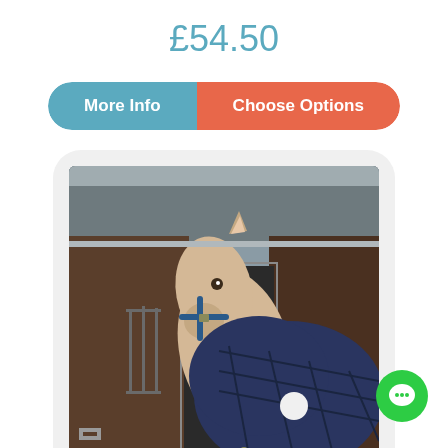£54.50
More Info | Choose Options
[Figure (photo): A pale/cream coloured horse wearing a navy blue quilted rug/blanket and a blue halter, standing in front of stable doors. The horse is shown from the neck up/chest area.]